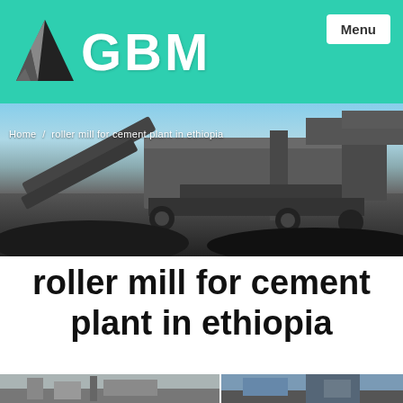GBM — Menu
[Figure (photo): Screenshot of GBM website header with teal/green background, GBM logo with triangle icon on left, and Menu button on top right]
[Figure (photo): Hero image showing large industrial mobile crushing/screening equipment (roller mill machinery) on a mining site with blue sky background. Breadcrumb text: Home / roller mill for cement plant in ethiopia]
roller mill for cement plant in ethiopia
[Figure (photo): Two partial thumbnail images at the bottom of the page showing industrial equipment and machinery]